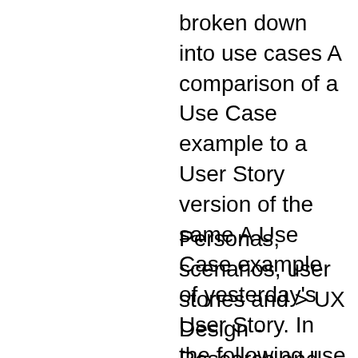broken down into use cases A comparison of a Use Case example to a User Story version of the same A Use Case example of yesterday's User Story. In the following use case scenarios,
Personas, scenarios, user stories and > UX Design - Research and Insights > Personas, scenarios, user stories scenarios can also be broken down into use